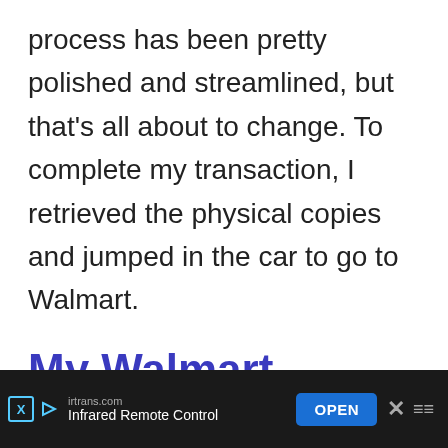process has been pretty polished and streamlined, but that's all about to change. To complete my transaction, I retrieved the physical copies and jumped in the car to go to Walmart.
My Walmart Experience
I'll be honest, I wasn't expecting a stellar experience, but even I was s...